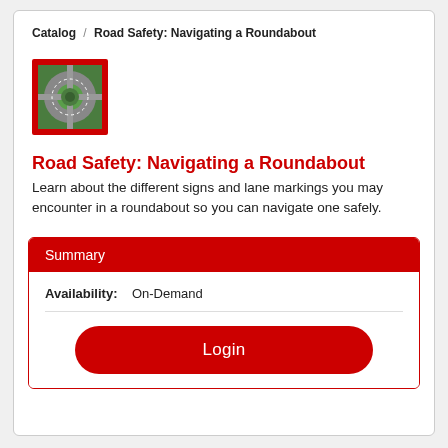Catalog / Road Safety: Navigating a Roundabout
[Figure (photo): Aerial/overhead image of a roundabout intersection with surrounding green areas, inside a red-bordered thumbnail.]
Road Safety: Navigating a Roundabout
Learn about the different signs and lane markings you may encounter in a roundabout so you can navigate one safely.
Summary
| Availability: |
| --- |
| On-Demand |
Login